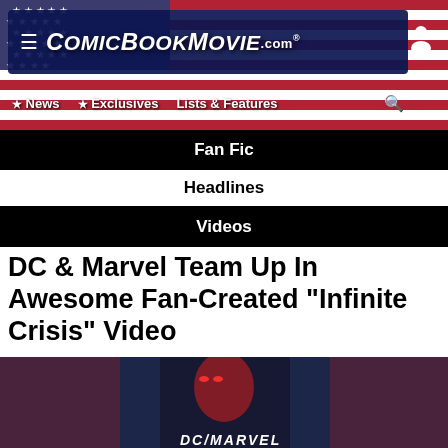ComicBookMovie.com
News | Exclusives | Lists & Features
Fan Fic
Headlines
Videos
DC & Marvel Team Up In Awesome Fan-Created "Infinite Crisis" Video
[Figure (photo): Composite movie poster showing DC and Marvel superhero characters including Superman, The Flash, Iron Man, Doctor Strange, Wonder Woman, and Captain America against a dark background with the text DC/MARVEL]